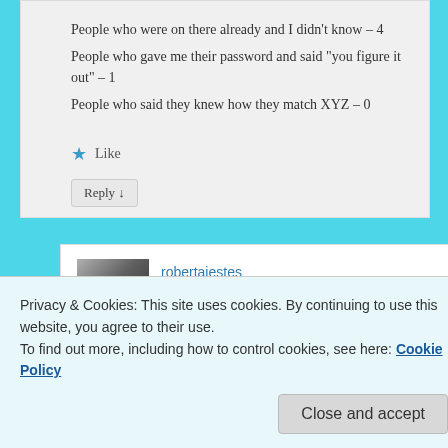People who were on there already and I didn't know – 4
People who gave me their password and said “you figure it out” – 1
People who said they knew how they match XYZ – 0
Like
Reply ↓
robertajestes
on August 29, 2015 at 2:11 am
said:
Privacy & Cookies: This site uses cookies. By continuing to use this website, you agree to their use.
To find out more, including how to control cookies, see here: Cookie Policy
Close and accept
might fare better. Thank you for sharing.